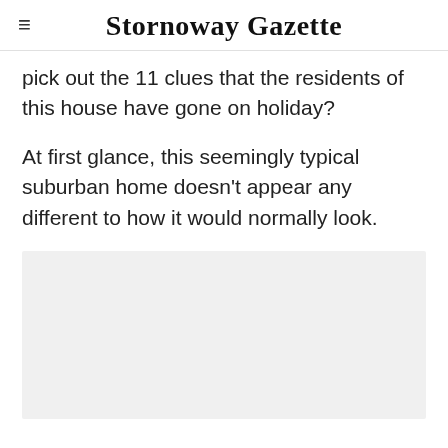Stornoway Gazette
pick out the 11 clues that the residents of this house have gone on holiday?
At first glance, this seemingly typical suburban home doesn’t appear any different to how it would normally look.
[Figure (photo): Light grey rectangular image placeholder area]